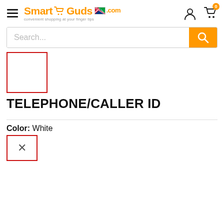[Figure (logo): SmartGuds.com logo with shopping cart icon and Namibia flag, orange text, tagline 'convenient shopping at your finger tips']
[Figure (other): Search bar with placeholder text 'Search...' and orange search button with magnifying glass icon]
[Figure (other): Product image placeholder — empty white box with red border]
TELEPHONE/CALLER ID
Color: White
[Figure (other): Color swatch selector — white box with red border containing an X mark, indicating selected White color option]